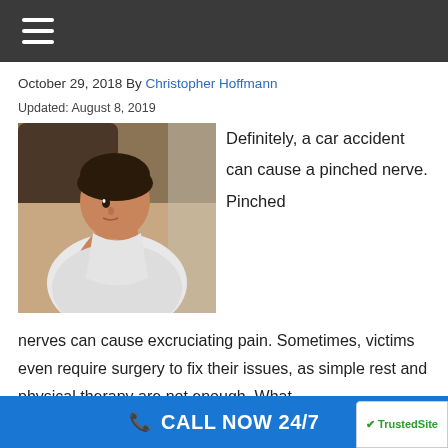October 29, 2018 By Christopher Hoffmann
Updated: August 8, 2019
[Figure (photo): Woman holding her neck/shoulder in pain, seated near a dark sofa]
Definitely, a car accident can cause a pinched nerve. Pinched nerves can cause excruciating pain. Sometimes, victims even require surgery to fix their issues, as simple rest and physical therapy are not enough. What
CALL NOW 24/7